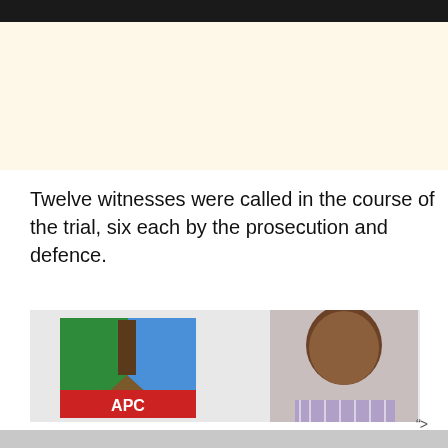Twelve witnesses were called in the course of the trial, six each by the prosecution and defence.
[Figure (photo): APC (All Progressives Congress) party logo on the left showing green, brown/gold broom symbol, and blue flag colors with red banner reading APC. On the right, a portrait photo of a bald Black man in a purple/white striped shirt.]